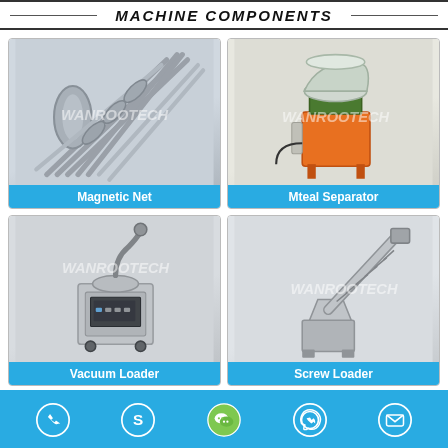MACHINE COMPONENTS
[Figure (photo): Magnetic Net machine component with multiple steel rods arranged in a circular/fan pattern, watermarked WANROOTECH]
Magnetic Net
[Figure (photo): Mteal Separator machine with orange/yellow body and stainless steel hopper on top, watermarked WANROOTECH]
Mteal Separator
[Figure (photo): Vacuum Loader machine component, grey box with hose/tube on top, watermarked WANROOTECH]
Vacuum Loader
[Figure (photo): Screw Loader machine with angled screw conveyor and hopper base, watermarked WANROOTECH]
Screw Loader
Contact icons: phone, Skype, WeChat, WhatsApp, email